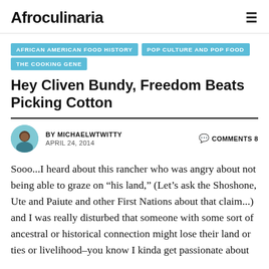Afroculinaria
AFRICAN AMERICAN FOOD HISTORY
POP CULTURE AND POP FOOD
THE COOKING GENE
Hey Cliven Bundy, Freedom Beats Picking Cotton
BY MICHAELWTWITTY   COMMENTS 8
APRIL 24, 2014
Sooo...I heard about this rancher who was angry about not being able to graze on “his land,” (Let’s ask the Shoshone, Ute and Paiute and other First Nations about that claim...)  and I was really disturbed that someone with some sort of ancestral or historical connection might lose their land or ties or livelihood–you know I kinda get passionate about